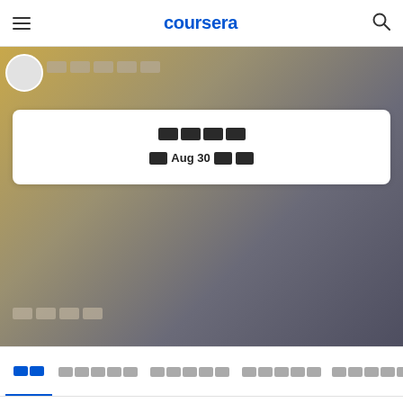coursera
[Figure (screenshot): Coursera profile hero section with gradient background (gold to dark grey), user avatar circle, redacted username, and a white card showing redacted course title and date 'Aug 30' with redacted text]
□□□□□ (redacted)
□ Aug 30 □□ (redacted date text)
□□□□ (redacted label below card)
□□  □□□□□  □□□□□  □□□□□  □□□□□□□ (navigation tabs, first tab active)